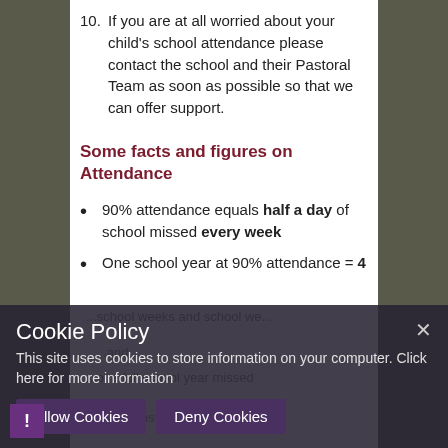10. If you are at all worried about your child's school attendance please contact the school and their Pastoral Team as soon as possible so that we can offer support.
Some facts and figures on Attendance
90% attendance equals half a day of school missed every week
One school year at 90% attendance = 4
Cookie Policy
This site uses cookies to store information on your computer. Click here for more information
Allow Cookies   Deny Cookies